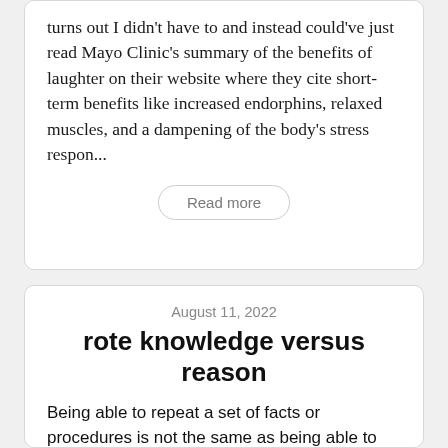turns out I didn't have to and instead could've just read Mayo Clinic's summary of the benefits of laughter on their website where they cite short-term benefits like increased endorphins, relaxed muscles, and a dampening of the body's stress respon...
Read more
August 11, 2022
rote knowledge versus reason
Being able to repeat a set of facts or procedures is not the same as being able to explain why a set of facts or procedures exist or continue to exist. This is the difference